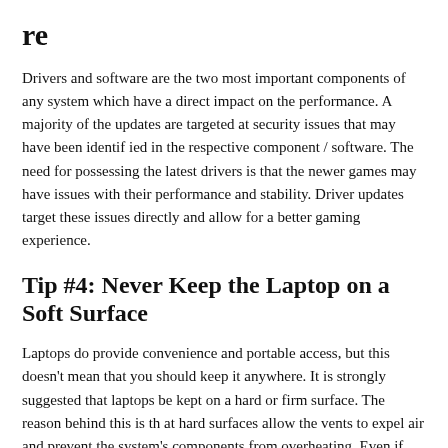re
Drivers and software are the two most important components of any system which have a direct impact on the performance. A majority of the updates are targeted at security issues that may have been identified in the respective component / software. The need for possessing the latest drivers is that the newer games may have issues with their performance and stability. Driver updates target these issues directly and allow for a better gaming experience.
Tip #4: Never Keep the Laptop on a Soft Surface
Laptops do provide convenience and portable access, but this doesn't mean that you should keep it anywhere. It is strongly suggested that laptops be kept on a hard or firm surface. The reason behind this is that hard surfaces allow the vents to expel air and prevent the system's components from overheating. Even if you are careful, it is difficult to ensure proper ventilation when you place the laptop on soft surfaces such as cushions or pillows. You can keep it on a cooling pad to allow